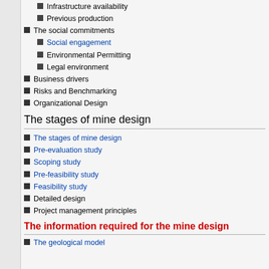Infrastructure availability
Previous production
The social commitments
Social engagement
Environmental Permitting
Legal environment
Business drivers
Risks and Benchmarking
Organizational Design
The stages of mine design
The stages of mine design
Pre-evaluation study
Scoping study
Pre-feasibility study
Feasibility study
Detailed design
Project management principles
The information required for the mine design
The geological model